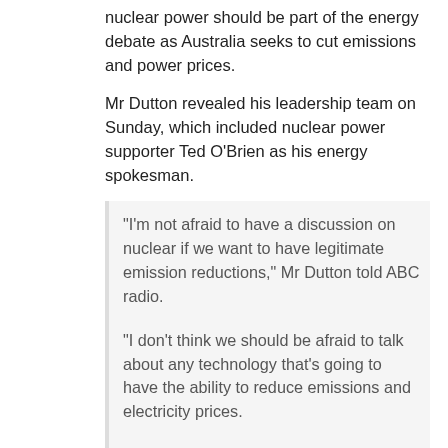nuclear power should be part of the energy debate as Australia seeks to cut emissions and power prices.
Mr Dutton revealed his leadership team on Sunday, which included nuclear power supporter Ted O'Brien as his energy spokesman.
“I’m not afraid to have a discussion on nuclear if we want to have legitimate emission reductions,” Mr Dutton told ABC radio.
“I don’t think we should be afraid to talk about any technology that’s going to have the ability to reduce emissions and electricity prices.
“That’s something we can consider in time. I don’t think we should rule things out simply because it’s